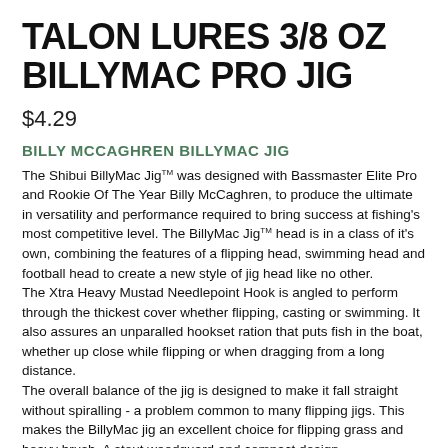TALON LURES 3/8 OZ BILLYMAC PRO JIG
$4.29
BILLY MCCAGHREN BILLYMAC JIG
The Shibui BillyMac JigTM was designed with Bassmaster Elite Pro and Rookie Of The Year Billy McCaghren, to produce the ultimate in versatility and performance required to bring success at fishing's most competitive level. The BillyMac JigTM head is in a class of it's own, combining the features of a flipping head, swimming head and football head to create a new style of jig head like no other.
The Xtra Heavy Mustad Needlepoint Hook is angled to perform through the thickest cover whether flipping, casting or swimming. It also assures an unparalled hookset ration that puts fish in the boat, whether up close while flipping or when dragging from a long distance.
The overall balance of the jig is designed to make it fall straight without spiralling - a problem common to many flipping jigs. This makes the BillyMac jig an excellent choice for flipping grass and heavy brush. A stout weedguard and compact design...